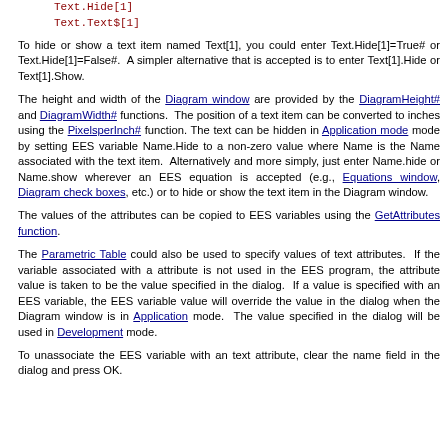Text.Hide[1]
Text.Text$[1]
To hide or show a text item named Text[1], you could enter Text.Hide[1]=True# or Text.Hide[1]=False#.  A simpler alternative that is accepted is to enter Text[1].Hide or Text[1].Show.
The height and width of the Diagram window are provided by the DiagramHeight# and DiagramWidth# functions.  The position of a text item can be converted to inches using the PixelsperInch# function. The text can be hidden in Application mode mode by setting EES variable Name.Hide to a non-zero value where Name is the Name associated with the text item.  Alternatively and more simply, just enter Name.hide or Name.show wherever an EES equation is accepted (e.g., Equations window, Diagram check boxes, etc.) or to hide or show the text item in the Diagram window.
The values of the attributes can be copied to EES variables using the GetAttributes function.
The Parametric Table could also be used to specify values of text attributes.  If the variable associated with a attribute is not used in the EES program, the attribute value is taken to be the value specified in the dialog.  If a value is specified with an EES variable, the EES variable value will override the value in the dialog when the Diagram window is in Application mode.  The value specified in the dialog will be used in Development mode.
To unassociate the EES variable with an text attribute, clear the name field in the dialog and press OK.